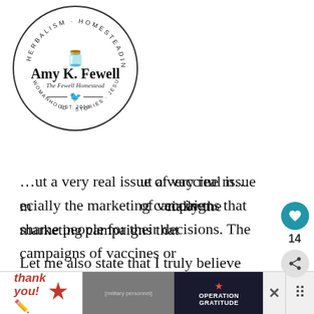[Figure (logo): Circular logo for Amy K. Fewell / The Fewell Homestead. Text arcing top reads 'Herbalism · Homesteading', bottom arc reads 'Womanhood · Stories · Jesus'. Center shows jar illustration, name 'Amy K. Fewell', subtitle 'The Fewell Homestead', decorative divider with bird, 'Est. 2008'.]
…ut a very real issue of vaccine m…ecially the marketing campaigns that shame people for their decisions. The campaigns of vaccines or pharmaceuticals that really aren't necessary for everyone.
Let me also state that I truly believe there is a time and place for modern medicine. I cannot discredit the goodness that has come from it. The countless people that it has saved. It is truly a miracle when used properly and well. But as with anything good,
[Figure (other): Social interaction buttons: heart/save button (teal circle with heart icon), count label '14', share button (grey circle with share icon)]
[Figure (other): Advertisement banner at page bottom: 'Thank you!' handwritten text with star, soldiers image, Operation Gratitude logo/text, close X button]